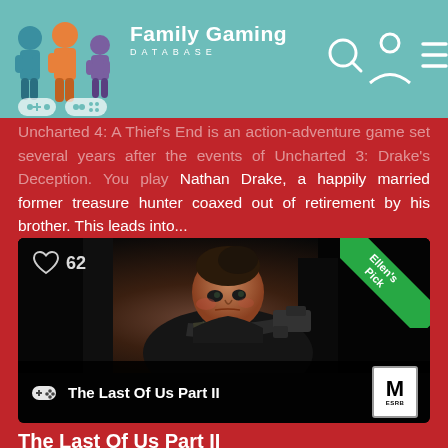Family Gaming DATABASE
Uncharted 4: A Thief's End is an action-adventure game set several years after the events of Uncharted 3: Drake's Deception. You play Nathan Drake, a happily married former treasure hunter coaxed out of retirement by his brother. This leads into...
[Figure (screenshot): Game card for The Last Of Us Part II showing a woman with a tattooed arm pointing a gun, with a heart/like icon showing 62 likes, an Ellen's Pick green ribbon in the top right corner, and ESRB M (Mature) rating badge. Card title bar reads 'The Last Of Us Part II'.]
The Last Of Us Part II
Content Rating: ESRB MATURE 17+